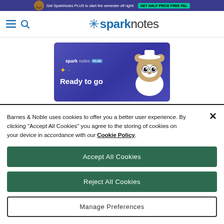Get SparkNotes PLUS to start the semester off right!
[Figure (logo): SparkNotes logo with asterisk star icon and hamburger/search nav icons]
[Figure (illustration): SparkNotes PLUS advertisement banner with mascot owl/bear character, sparkle stars, text 'Ready to go']
Barnes & Noble uses cookies to offer you a better user experience. By clicking "Accept All Cookies" you agree to the storing of cookies on your device in accordance with our Cookie Policy.
Accept All Cookies
Reject All Cookies
Manage Preferences